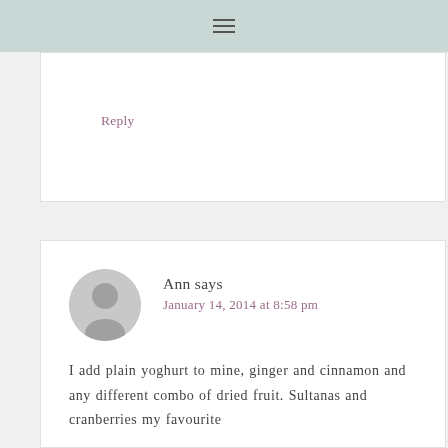☰
Reply
Ann says
January 14, 2014 at 8:58 pm
I add plain yoghurt to mine, ginger and cinnamon and any different combo of dried fruit. Sultanas and cranberries my favourite
Reply